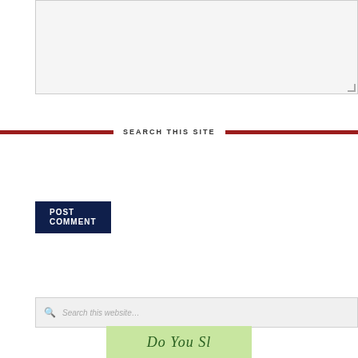[Figure (screenshot): Text area input box, light gray background with resize handle in bottom-right corner]
POST COMMENT
SEARCH THIS SITE
[Figure (screenshot): Search input box with magnifying glass icon and placeholder text 'Search this website...']
Subscribe To My Free Newsletter
[Figure (screenshot): Email address input box with placeholder text 'Email Address']
SUBSCRIBE
[Figure (screenshot): Partial green banner image at bottom, showing partial text in serif italic font]